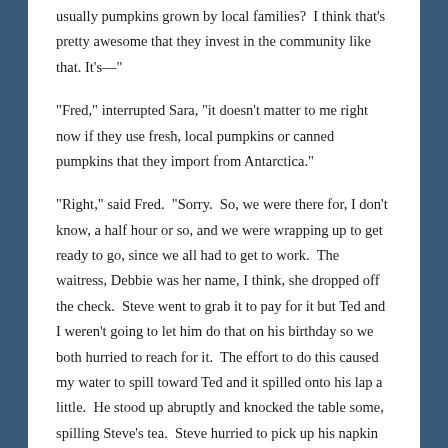usually pumpkins grown by local families?  I think that's pretty awesome that they invest in the community like that. It's—"
"Fred," interrupted Sara, "it doesn't matter to me right now if they use fresh, local pumpkins or canned pumpkins that they import from Antarctica."
"Right," said Fred.  "Sorry.  So, we were there for, I don't know, a half hour or so, and we were wrapping up to get ready to go, since we all had to get to work.  The waitress, Debbie was her name, I think, she dropped off the check.  Steve went to grab it to pay for it but Ted and I weren't going to let him do that on his birthday so we both hurried to reach for it.  The effort to do this caused my water to spill toward Ted and it spilled onto his lap a little.  He stood up abruptly and knocked the table some, spilling Steve's tea.  Steve hurried to pick up his napkin to dry up the spill and that caused the check to fall to the floor.  So, I got off the chair and knelt down to pick up the check.  I didn't realize it but so did Ted and his head banged mine.  It